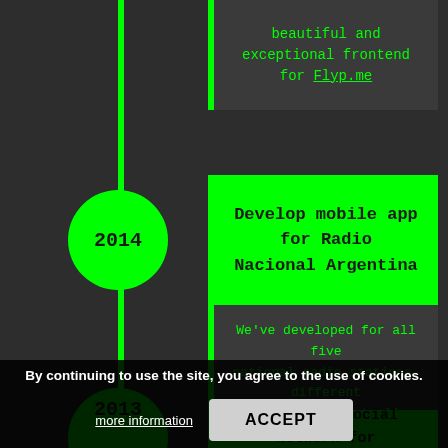beautiful and exceptional frontend for Flyp.me
2014
Develop mobile app for Radio Nacional Argentina
We've developed for all five national radio stations, different mobile apps (actually automated clones from one of them). Since the development was funded by public money, we have agreed by contract, that it would be released as Free Software, so you can find Radioflow here
By continuing to use the site, you agree to the use of cookies.
more information
ACCEPT
2013
Develop a Social Network for the Ministry of Agriculture